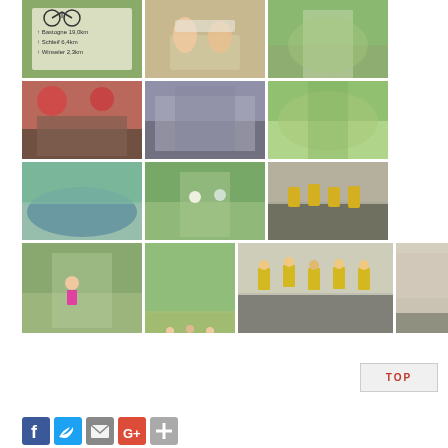[Figure (photo): Grid of cycling/bicycle trip photos: road sign (Bastogne 19.0km, Schleif 6.4km, Winseler 2.3km), couple on bench, cyclist on path, outdoor cafe with cyclists, group of cyclists at building, landscape with bicycle, pond/lake scene, two cyclists on road, group cyclists in street, child cyclist with adult, cyclists on wooden bridge, group cyclists in yellow jerseys posing, cyclists in yellow jerseys at building courtyard]
TOP
[Figure (infographic): Social media share buttons: Facebook (blue), Twitter (blue), Email (grey), Google+ (red/white), Add (grey/green)]